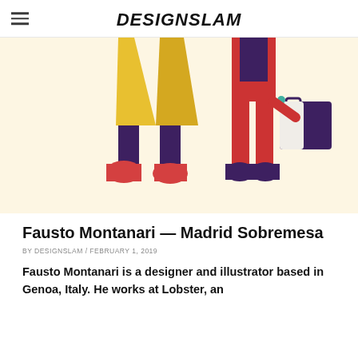DESIGNSLAM
[Figure (illustration): Illustration showing lower bodies of fashion figures: one wearing a yellow coat with dark purple legs and red boots, another wearing a red/orange outfit with dark boots and carrying a purple handbag, on a cream/light yellow background.]
Fausto Montanari — Madrid Sobremesa
BY DESIGNSLAM / FEBRUARY 1, 2019
Fausto Montanari is a designer and illustrator based in Genoa, Italy. He works at Lobster, an